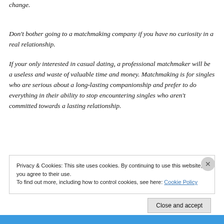change.
Don't bother going to a matchmaking company if you have no curiosity in a real relationship.
If your only interested in casual dating, a professional matchmaker will be a useless and waste of valuable time and money. Matchmaking is for singles who are serious about a long-lasting companionship and prefer to do everything in their ability to stop encountering singles who aren't committed towards a lasting relationship.
Privacy & Cookies: This site uses cookies. By continuing to use this website, you agree to their use.
To find out more, including how to control cookies, see here: Cookie Policy
Close and accept